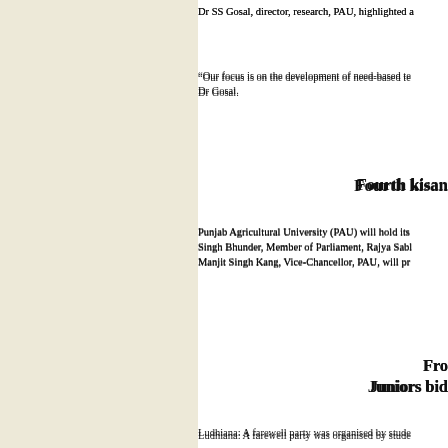Dr SS Gosal, director, research, PAU, highlighted a
“Our focus is on the development of need-based te... Dr Gosal.
Fourth kisan
Punjab Agricultural University (PAU) will hold its... Singh Bhunder, Member of Parliament, Rajya Sabl... Manjit Singh Kang, Vice-Chancellor, PAU, will pr
Fro
Juniors bid
Ludhiana: A farewell party was organised by stude... seniors. Principal Dr Charanjit Mahal presided ove... fashion show was also held. Poonam was adjudged... named first and second runners-up, respectively. A... Elegant and Miss Beautiful Smile, respectively.
Government
Students of Government College for Women bid ac... programme and a fashion show. Principal of the co... Dr Mohinder Kaur Grewal, convener of the hecto...